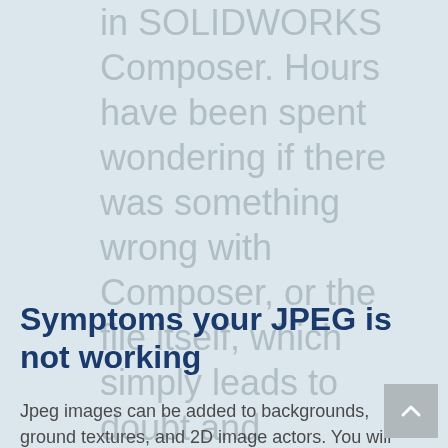in SOLIDWORKS Composer. Hours have been spent wondering if there was something wrong with Composer, or the file itself, which simply leads to doubt and frustration. In this article, you will learn how to identify an unruly JPEG file, and how to correct it.
Symptoms your JPEG is not working
Jpeg images can be added to backgrounds, ground textures, and 2D image actors. You will notice that for ground textures & 2D image